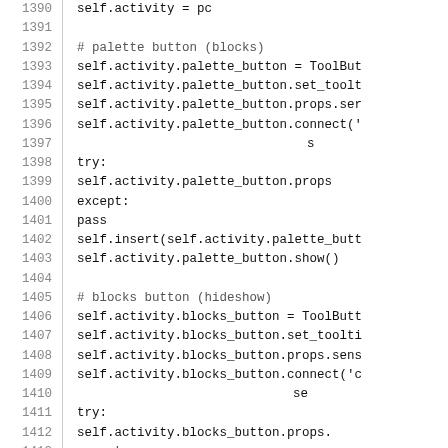Source code lines 1390-1419, Python code snippet showing palette_button and blocks_button setup with ToolButton, tooltips, props, connect, try/except blocks, insert, show calls, and separator creation.